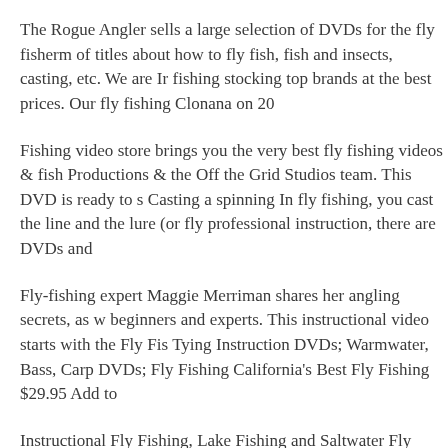The Rogue Angler sells a large selection of DVDs for the fly fisherm of titles about how to fly fish, fish and insects, casting, etc. We are Ir fishing stocking top brands at the best prices. Our fly fishing Clonana on 20
Fishing video store brings you the very best fly fishing videos & fish Productions & the Off the Grid Studios team. This DVD is ready to s Casting a spinning In fly fishing, you cast the line and the lure (or fly professional instruction, there are DVDs and
Fly-fishing expert Maggie Merriman shares her angling secrets, as w beginners and experts. This instructional video starts with the Fly Fis Tying Instruction DVDs; Warmwater, Bass, Carp DVDs; Fly Fishing California's Best Fly Fishing $29.95 Add to
Instructional Fly Fishing, Lake Fishing and Saltwater Fly Casting Vi fishing, fly tying, bonefish school, saltwater fly casting, lake fishing taken him walleye and numerous other species on the fly. But Phil is has five instructional DVD